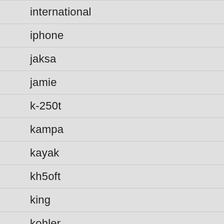international
iphone
jaksa
jamie
k-250t
kampa
kayak
kh5oft
king
kohler
kremlin
kwasyo